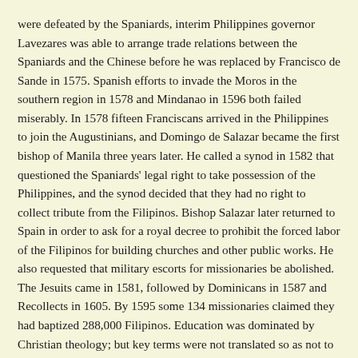were defeated by the Spaniards, interim Philippines governor Lavezares was able to arrange trade relations between the Spaniards and the Chinese before he was replaced by Francisco de Sande in 1575. Spanish efforts to invade the Moros in the southern region in 1578 and Mindanao in 1596 both failed miserably. In 1578 fifteen Franciscans arrived in the Philippines to join the Augustinians, and Domingo de Salazar became the first bishop of Manila three years later. He called a synod in 1582 that questioned the Spaniards' legal right to take possession of the Philippines, and the synod decided that they had no right to collect tribute from the Filipinos. Bishop Salazar later returned to Spain in order to ask for a royal decree to prohibit the forced labor of the Filipinos for building churches and other public works. He also requested that military escorts for missionaries be abolished. The Jesuits came in 1581, followed by Dominicans in 1587 and Recollects in 1605. By 1595 some 134 missionaries claimed they had baptized 288,000 Filipinos. Education was dominated by Christian theology; but key terms were not translated so as not to be confused with indigenous beliefs. In 1585 Philip II banned Chinese trade with Manila, but Mexico's viceroy would not enforce this. In 1593 Spain required all commerce from the Philippines to go through Acapulco in Mexico, and this policy continued until 1815.
Forces from Manila were sent to attack Ternate; but in 1593 Spaniards in a hundred ships were massacred when their Chinese